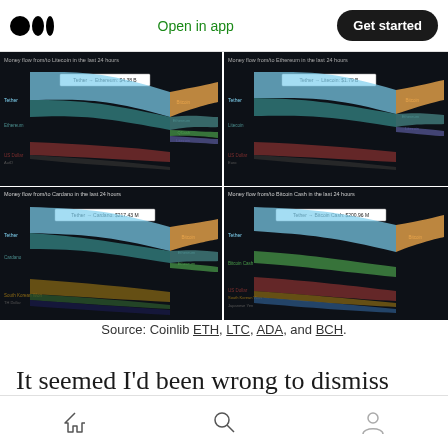Open in app | Get started
[Figure (infographic): 2x2 grid of Sankey flow diagrams showing money flow from/to ETH, LTC, Cardano, and Bitcoin Cash in the last 24 hours. Each chart shows flows dominated by Tether on the left side flowing to various cryptocurrencies on the right.]
Source: Coinlib ETH, LTC, ADA, and BCH.
It seemed I’d been wrong to dismiss Tether.
Home | Search | Profile